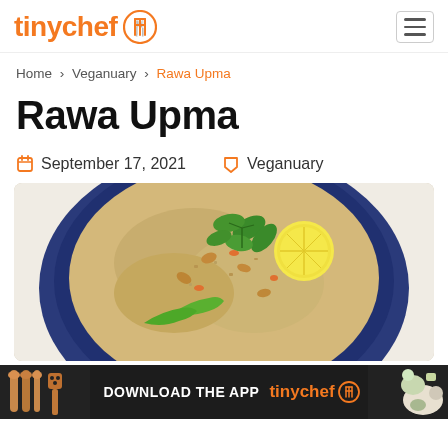tinychef (logo)
Home > Veganuary > Rawa Upma
Rawa Upma
September 17, 2021   Veganuary
[Figure (photo): A blue plate of Rawa Upma garnished with a lemon slice, fresh cilantro, and green chili peppers, viewed from above on a white background.]
DOWNLOAD THE APP tinychef